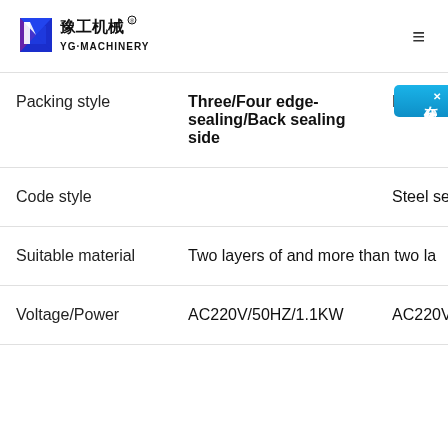[Figure (logo): YG Machinery logo with blue/purple geometric mark and Chinese characters 豫工机械 with YG-MACHINERY text]
|  | Col1 | Col2 |
| --- | --- | --- |
| Packing style | Three/Four edge-sealing/Back sealing side | Back s… |
| Code style |  | Steel se… |
| Suitable material | Two layers of and more than two la… |  |
| Voltage/Power | AC220V/50HZ/1.1KW | AC220V… |